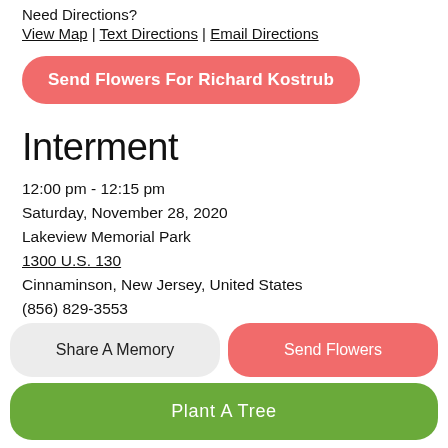Need Directions?
View Map | Text Directions | Email Directions
Send Flowers For Richard Kostrub
Interment
12:00 pm - 12:15 pm
Saturday, November 28, 2020
Lakeview Memorial Park
1300 U.S. 130
Cinnaminson, New Jersey, United States
(856) 829-3553
Need Directions?
Share A Memory
Send Flowers
Plant A Tree